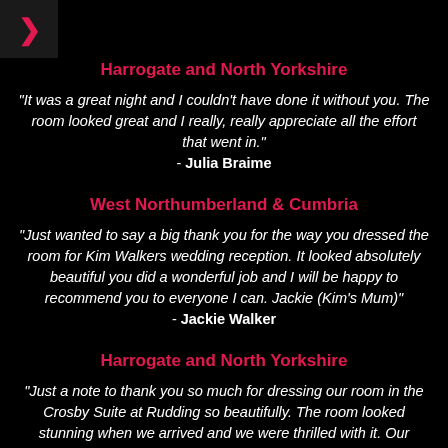[Figure (other): Navigation arrow button (pink chevron right) on dark background, top-left corner]
Harrogate and North Yorkshire
"It was a great night and I couldn't have done it without you. The room looked great and I really, really appreciate all the effort that went in."
- Julia Braime
West Northumberland & Cumbria
"Just wanted to say a big thank you for the way you dressed the room for Kim Walkers wedding reception. It looked absolutely beautiful you did a wonderful job and I will be happy to recommend you to everyone I can. Jackie (Kim's Mum)"
- Jackie Walker
Harrogate and North Yorkshire
"Just a note to thank you so much for dressing our room in the Crosby Suite at Rudding so beautifully. The room looked stunning when we arrived and we were thrilled with it. Our guests, too, were hugely impressed, and I will certainly recommend you